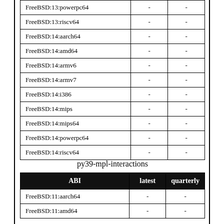| ABI | latest | quarterly |
| --- | --- | --- |
| FreeBSD:13:powerpc64 | - | - |
| FreeBSD:13:riscv64 | - | - |
| FreeBSD:14:aarch64 | - | - |
| FreeBSD:14:amd64 | - | - |
| FreeBSD:14:armv6 | - | - |
| FreeBSD:14:armv7 | - | - |
| FreeBSD:14:i386 | - | - |
| FreeBSD:14:mips | - | - |
| FreeBSD:14:mips64 | - | - |
| FreeBSD:14:powerpc64 | - | - |
| FreeBSD:14:riscv64 | - | - |
py39-mpl-interactions
| ABI | latest | quarterly |
| --- | --- | --- |
| FreeBSD:11:aarch64 | - | - |
| FreeBSD:11:amd64 | - | - |